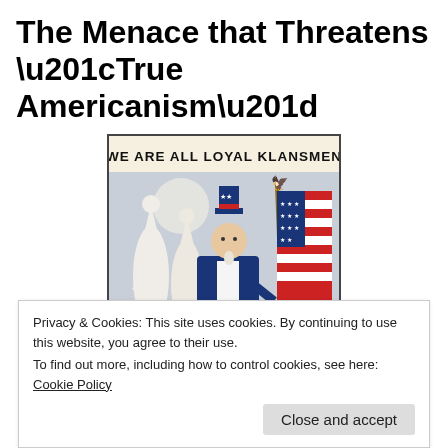The Menace that Threatens “True Americanism”
[Figure (illustration): Historical propaganda poster showing Uncle Sam figure holding an American flag alongside robed KKK figures, with text reading 'WE ARE ALL LOYAL KLANSMEN']
Privacy & Cookies: This site uses cookies. By continuing to use this website, you agree to their use.
To find out more, including how to control cookies, see here: Cookie Policy
Close and accept